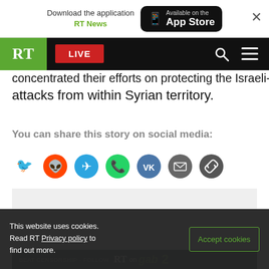[Figure (screenshot): RT News app store banner and navigation bar overlay]
concentrated their efforts on protecting the Israeli-attacks from within Syrian territory.
You can share this story on social media:
[Figure (infographic): Social media share icons: Twitter, Reddit, Telegram, WhatsApp, VK, Email, Copy Link]
[Figure (infographic): Advertisement placeholder (light gray box)]
[Figure (infographic): Beat Censorship - Follow RT on gab banner with partial numbers]
This website uses cookies. Read RT Privacy policy to find out more.